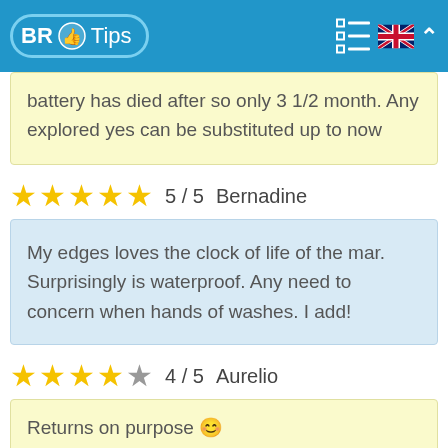BR Tips
battery has died after so only 3 1/2 month. Any explored yes can be substituted up to now
5 / 5  Bernadine
My edges loves the clock of life of the mar. Surprisingly is waterproof. Any need to concern when hands of washes. I add!
4 / 5  Aurelio
Returns on purpose 😊